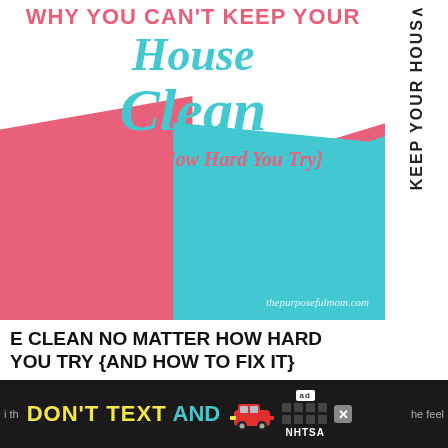[Figure (illustration): Blog post featured image: colorful laundry/fabric items (white, pink/hot-pink, and teal) overlaid with blog post title text. Text on image reads: WHY YOU CAN'T KEEP YOUR House Clean {No Matter How Hard You Try} with watermark thepurposefulmom.com]
KEEP YOUR HOUS
E CLEAN NO MATTER HOW HARD YOU TRY {AND HOW TO FIX IT}
[Figure (infographic): Advertisement banner: dark background with text DON'T TEXT AND [car emoji], ad badge, NHTSA logo, close button. Partial text on sides: 'i th...' and '...he feel']